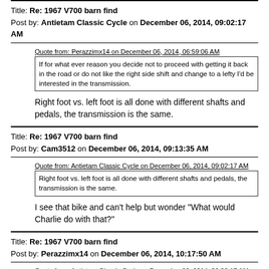Title: Re: 1967 V700 barn find
Post by: Antietam Classic Cycle on December 06, 2014, 09:02:17 AM
Quote from: Perazzimx14 on December 06, 2014, 06:59:06 AM
If for what ever reason you decide not to proceed with getting it back in the road or do not like the right side shift and change to a lefty I'd be interested in the transmission.
Right foot vs. left foot is all done with different shafts and pedals, the transmission is the same.
Title: Re: 1967 V700 barn find
Post by: Cam3512 on December 06, 2014, 09:13:35 AM
Quote from: Antietam Classic Cycle on December 06, 2014, 09:02:17 AM
Right foot vs. left foot is all done with different shafts and pedals, the transmission is the same.
I see that bike and can't help but wonder "What would Charlie do with that?"
Title: Re: 1967 V700 barn find
Post by: Perazzimx14 on December 06, 2014, 10:17:50 AM
Quote from: Antietam Classic Cycle on December 06, 2014, 09:02:17 AM